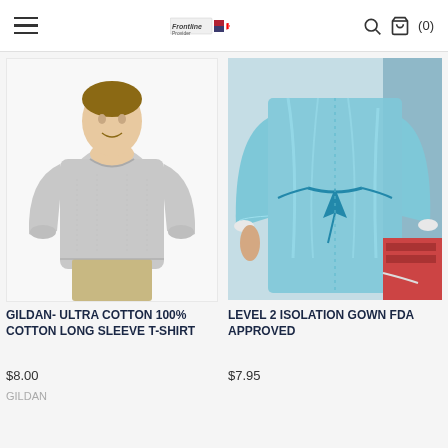Navigation header with hamburger menu, logo, search icon, and cart (0)
[Figure (photo): Man wearing a grey long sleeve t-shirt and khaki pants, smiling, product photo on white background]
GILDAN- ULTRA COTTON 100% COTTON LONG SLEEVE T-SHIRT
$8.00
GILDAN
[Figure (photo): Person wearing a blue Level 2 isolation gown with tie at waist, FDA approved, medical protective gown]
LEVEL 2 ISOLATION GOWN FDA APPROVED
$7.95